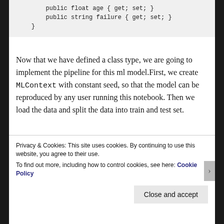public float age { get; set; }
        public string failure { get; set; }
    }
Now that we have defined a class type, we are going to implement the pipeline for this ml model.First, we create MLContext with constant seed, so that the model can be reproduced by any user running this notebook. Then we load the data and split the data into train and test set.
MLContext mlContext= new MLContext(seed:0);
    var strPath="data/final_dataFrame.csv";
    var mlDF= DataFrame.FromCsv(strPath);
Privacy & Cookies: This site uses cookies. By continuing to use this website, you agree to their use.
To find out more, including how to control cookies, see here: Cookie Policy